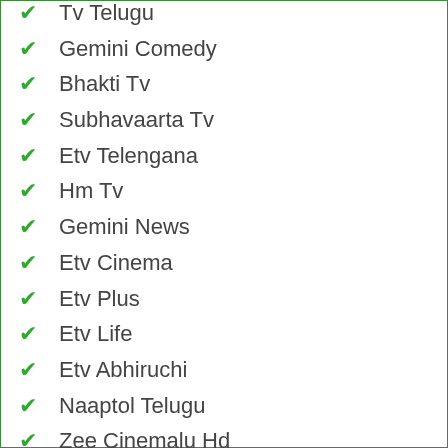Tv Telugu
Gemini Comedy
Bhakti Tv
Subhavaarta Tv
Etv Telengana
Hm Tv
Gemini News
Etv Cinema
Etv Plus
Etv Life
Etv Abhiruchi
Naaptol Telugu
Zee Cinemalu Hd
Zee Cinemalu
Cvr English
Cvr News
Cvr Health
Cvr Spiritual Om
Raj News Telugu
Vijay Tv